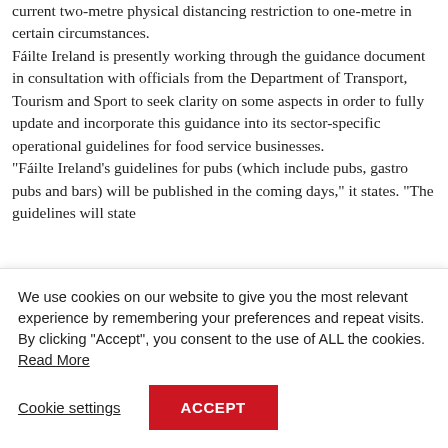current two-metre physical distancing restriction to one-metre in certain circumstances. Fáilte Ireland is presently working through the guidance document in consultation with officials from the Department of Transport, Tourism and Sport to seek clarity on some aspects in order to fully update and incorporate this guidance into its sector-specific operational guidelines for food service businesses. "Fáilte Ireland's guidelines for pubs (which include pubs, gastro pubs and bars) will be published in the coming days," it states. "The guidelines will state
We use cookies on our website to give you the most relevant experience by remembering your preferences and repeat visits. By clicking "Accept", you consent to the use of ALL the cookies. Read More
Cookie settings
ACCEPT